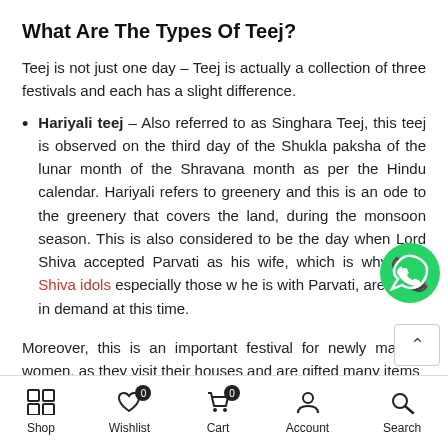What Are The Types Of Teej?
Teej is not just one day – Teej is actually a collection of three festivals and each has a slight difference.
Hariyali teej – Also referred to as Singhara Teej, this teej is observed on the third day of the Shukla paksha of the lunar month of the Shravana month as per the Hindu calendar. Hariyali refers to greenery and this is an ode to the greenery that covers the land, during the monsoon season. This is also considered to be the day when Lord Shiva accepted Parvati as his wife, which is why Lord Shiva idols especially those where he is with Parvati, are much in demand at this time.
Moreover, this is an important festival for newly married women, as they visit their houses and are gifted many items
Shop  Wishlist  Cart  Account  Search